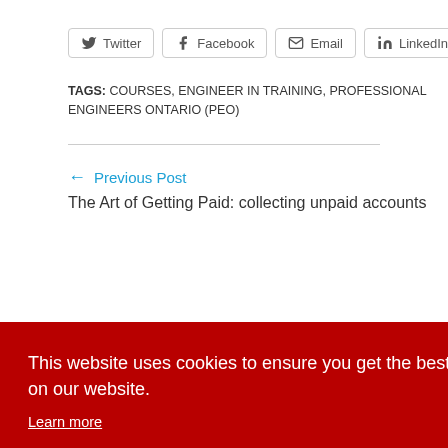[Figure (other): Social share buttons: Twitter, Facebook, Email, LinkedIn]
TAGS: COURSES, ENGINEER IN TRAINING, PROFESSIONAL ENGINEERS ONTARIO (PEO)
← Previous Post
The Art of Getting Paid: collecting unpaid accounts
Next Post →
This website uses cookies to ensure you get the best experience on our website. Learn more
Got it!